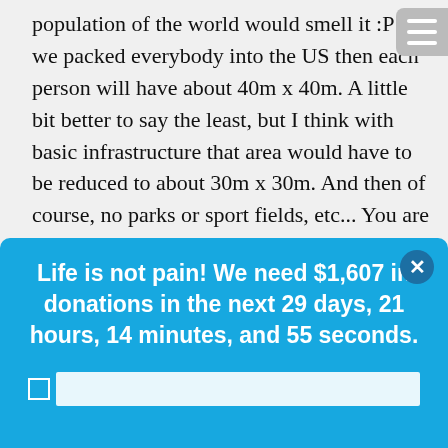population of the world would smell it :P If we packed everybody into the US then each person will have about 40m x 40m. A little bit better to say the least, but I think with basic infrastructure that area would have to be reduced to about 30m x 30m. And then of course, no parks or sport fields, etc... You are still looking at a scenario where if one person gets a bad flu then the human race is in trouble. Use the world and we are left with plots of
[Figure (screenshot): Blue modal popup overlay with white bold text: 'Life is not pain! We need $1,607 in donations in the next 29 days, 21 hours, 14 minutes, and 55 seconds.' with a close (X) button and a text input bar with a checkbox below the text.]